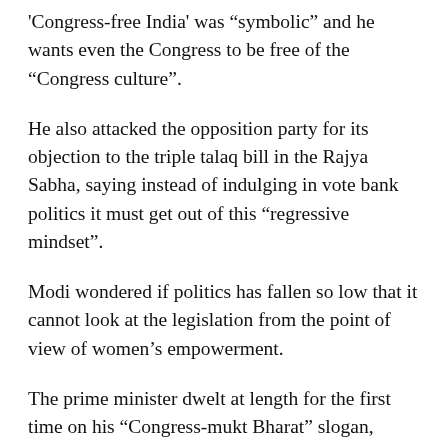'Congress-free India' was “symbolic” and he wants even the Congress to be free of the “Congress culture”.
He also attacked the opposition party for its objection to the triple talaq bill in the Rajya Sabha, saying instead of indulging in vote bank politics it must get out of this “regressive mindset”.
Modi wondered if politics has fallen so low that it cannot look at the legislation from the point of view of women’s empowerment.
The prime minister dwelt at length for the first time on his “Congress-mukt Bharat” slogan, which he had coined during his 2014 Lok Sabha election campaign.